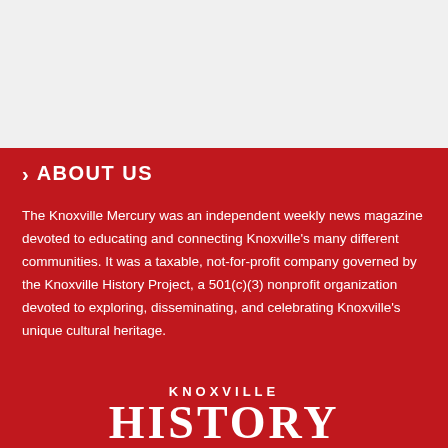> ABOUT US
The Knoxville Mercury was an independent weekly news magazine devoted to educating and connecting Knoxville's many different communities. It was a taxable, not-for-profit company governed by the Knoxville History Project, a 501(c)(3) nonprofit organization devoted to exploring, disseminating, and celebrating Knoxville's unique cultural heritage.
[Figure (logo): Knoxville History Project logo with text 'KNOXVILLE' above large serif text 'HISTORY']